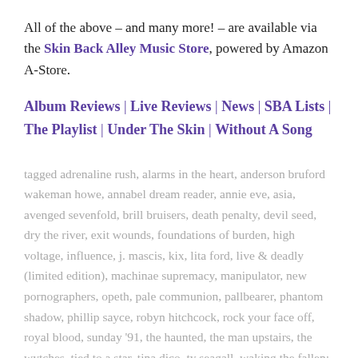All of the above – and many more! – are available via the Skin Back Alley Music Store, powered by Amazon A-Store.
Album Reviews | Live Reviews | News | SBA Lists | The Playlist | Under The Skin | Without A Song
tagged adrenaline rush, alarms in the heart, anderson bruford wakeman howe, annabel dream reader, annie eve, asia, avenged sevenfold, brill bruisers, death penalty, devil seed, dry the river, exit wounds, foundations of burden, high voltage, influence, j. mascis, kix, lita ford, live & deadly (limited edition), machinae supremacy, manipulator, new pornographers, opeth, pale communion, pallbearer, phantom shadow, phillip sayce, robyn hitchcock, rock your face off, royal blood, sunday '91, the haunted, the man upstairs, the wytches, tied to a star, tina dico, ty seagall, waking the fallen: resurrected, whispers, wolf      leave a comment